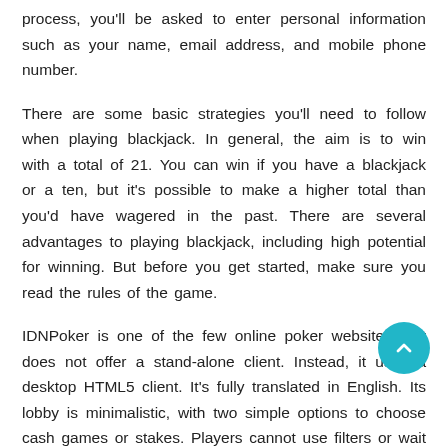process, you'll be asked to enter personal information such as your name, email address, and mobile phone number.
There are some basic strategies you'll need to follow when playing blackjack. In general, the aim is to win with a total of 21. You can win if you have a blackjack or a ten, but it's possible to make a higher total than you'd have wagered in the past. There are several advantages to playing blackjack, including high potential for winning. But before you get started, make sure you read the rules of the game.
IDNPoker is one of the few online poker websites that does not offer a stand-alone client. Instead, it uses a desktop HTML5 client. It's fully translated in English. Its lobby is minimalistic, with two simple options to choose cash games or stakes. Players cannot use filters or wait lists, but they can hide the full tables. Unlike most online poker sites, IDNPoker only allows you to play one table per account, so you'll need a separate browser and an account for each game.
Payment methods for IDN Poker vary depending on country. In the Indonesian market, Rupiah and Ringgit are accepted, as are Baht and Yuan in China. The average IDN Poker agent uses four major local banks in Indonesia, Malaysia, and Thailand. Depending on your